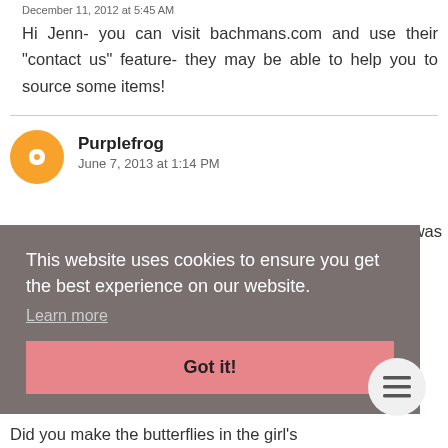December 11, 2012 at 5:45 AM
Hi Jenn- you can visit bachmans.com and use their "contact us" feature- they may be able to help you to source some items!
Purplefrog
June 7, 2013 at 1:14 PM
was
This website uses cookies to ensure you get the best experience on our website.
Learn more
Got it!
ly
Did you make the butterflies in the girl's